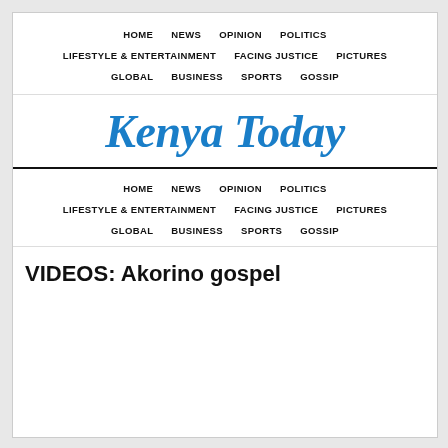HOME  NEWS  OPINION  POLITICS  LIFESTYLE & ENTERTAINMENT  FACING JUSTICE  PICTURES  GLOBAL  BUSINESS  SPORTS  GOSSIP
Kenya Today
HOME  NEWS  OPINION  POLITICS  LIFESTYLE & ENTERTAINMENT  FACING JUSTICE  PICTURES  GLOBAL  BUSINESS  SPORTS  GOSSIP
VIDEOS: Akorino gospel